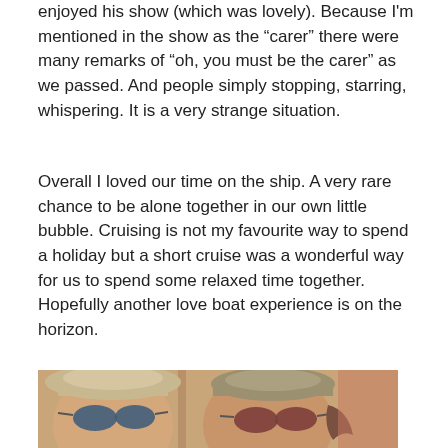enjoyed his show (which was lovely). Because I'm mentioned in the show as the “carer” there were many remarks of “oh, you must be the carer” as we passed. And people simply stopping, starring, whispering. It is a very strange situation.
Overall I loved our time on the ship. A very rare chance to be alone together in our own little bubble. Cruising is not my favourite way to spend a holiday but a short cruise was a wonderful way for us to spend some relaxed time together. Hopefully another love boat experience is on the horizon.
[Figure (photo): A selfie photo of two people wearing hats and sunglasses, outdoors, appearing to be on a cruise ship deck.]